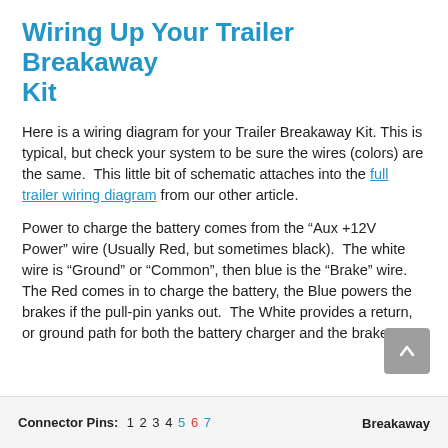Wiring Up Your Trailer Breakaway Kit
Here is a wiring diagram for your Trailer Breakaway Kit. This is typical, but check your system to be sure the wires (colors) are the same. This little bit of schematic attaches into the full trailer wiring diagram from our other article.
Power to charge the battery comes from the “Aux +12V Power” wire (Usually Red, but sometimes black). The white wire is “Ground” or “Common”, then blue is the “Brake” wire. The Red comes in to charge the battery, the Blue powers the brakes if the pull-pin yanks out. The White provides a return, or ground path for both the battery charger and the brakes.
Connector Pins: 1 2 3 4 5 6 7   Breakaway